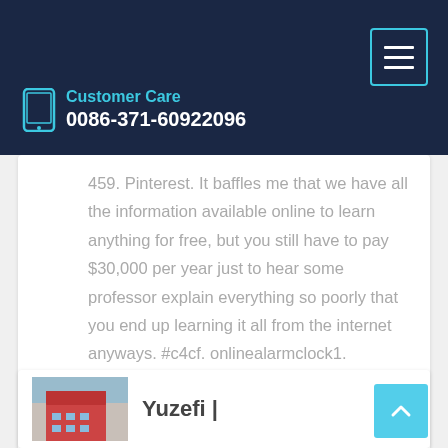Customer Care 0086-371-60922096
459. Pinterest. It baffles me that we have all the information available online to learn anything for free, but you still have to pay $30,000 per year just to hear some professor explain everything so poorly that you end up learning it all from the internet anyways. #c4cf. onlinealarmclock1.
Learn More
Yuzefi |